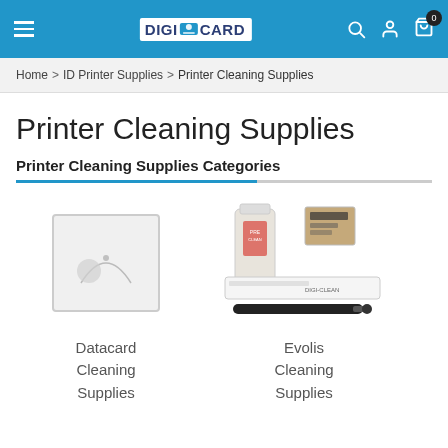DigiCard navigation header with hamburger menu, logo, search, account, and cart icons
Home > ID Printer Supplies > Printer Cleaning Supplies
Printer Cleaning Supplies
Printer Cleaning Supplies Categories
[Figure (photo): Placeholder image (no product image available) for Datacard Cleaning Supplies]
Datacard Cleaning Supplies
[Figure (photo): Photo of Evolis cleaning supplies including a bottle, cleaning pen, and cleaning cards]
Evolis Cleaning Supplies